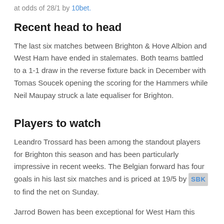at odds of 28/1 by 10bet.
Recent head to head
The last six matches between Brighton & Hove Albion and West Ham have ended in stalemates. Both teams battled to a 1-1 draw in the reverse fixture back in December with Tomas Soucek opening the scoring for the Hammers while Neil Maupay struck a late equaliser for Brighton.
Players to watch
Leandro Trossard has been among the standout players for Brighton this season and has been particularly impressive in recent weeks. The Belgian forward has four goals in his last six matches and is priced at 19/5 by SBK to find the net on Sunday.
Jarrod Bowen has been exceptional for West Ham this